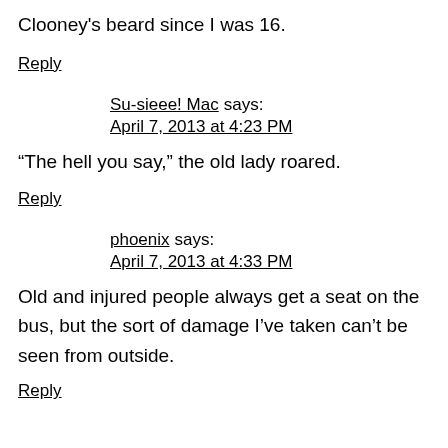Clooney's beard since I was 16.
Reply
Su-sieee! Mac says:
April 7, 2013 at 4:23 PM
“The hell you say,” the old lady roared.
Reply
phoenix says:
April 7, 2013 at 4:33 PM
Old and injured people always get a seat on the bus, but the sort of damage I’ve taken can’t be seen from outside.
Reply